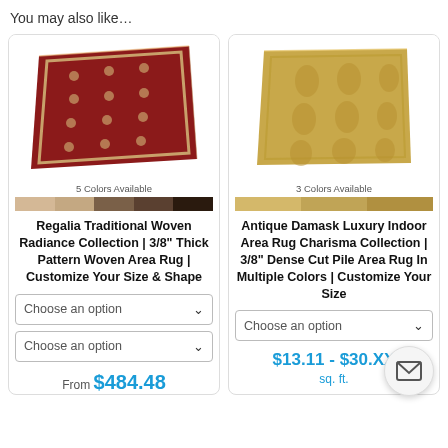You may also like…
[Figure (photo): Red traditional patterned area rug with medallion design, shown at angle. 5 Colors Available. Color swatches shown below.]
Regalia Traditional Woven Radiance Collection | 3/8" Thick Pattern Woven Area Rug | Customize Your Size & Shape
Choose an option (dropdown)
Choose an option (dropdown)
From $484.48
[Figure (photo): Tan/gold damask patterned area rug shown flat. 3 Colors Available. Color swatches shown below.]
Antique Damask Luxury Indoor Area Rug Charisma Collection | 3/8" Dense Cut Pile Area Rug In Multiple Colors | Customize Your Size
Choose an option (dropdown)
$13.11 - $30.XX sq. ft.